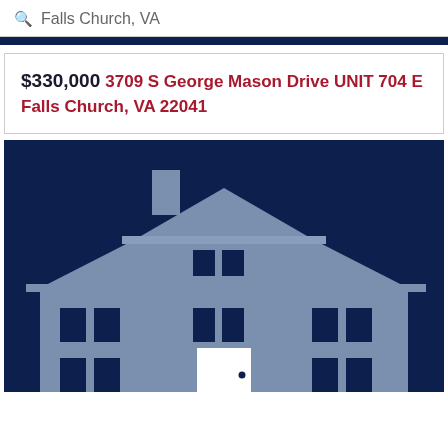Falls Church, VA
$330,000 3709 S George Mason Drive UNIT 704 E Falls Church, VA 22041
[Figure (illustration): Placeholder house icon graphic — a stylized two-story house silhouette in grey-blue color on a dark navy background, showing chimney, roof, windows, and a white front door.]